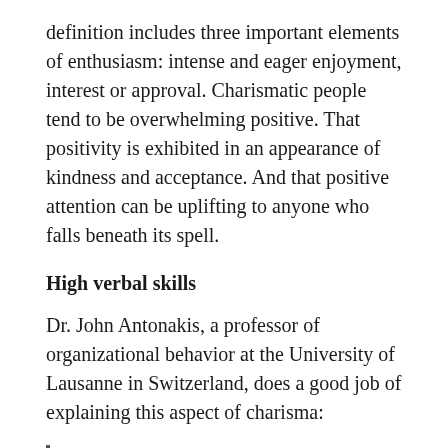definition includes three important elements of enthusiasm: intense and eager enjoyment, interest or approval. Charismatic people tend to be overwhelming positive. That positivity is exhibited in an appearance of kindness and acceptance. And that positive attention can be uplifting to anyone who falls beneath its spell.
High verbal skills
Dr. John Antonakis, a professor of organizational behavior at the University of Lausanne in Switzerland, does a good job of explaining this aspect of charisma:
The most charismatic people in a